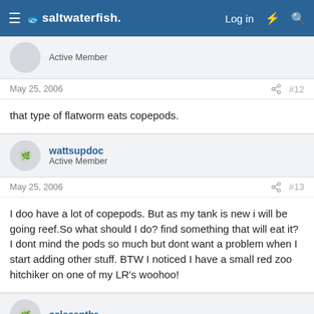saltwaterfish — Log in
Active Member
May 25, 2006   #12
that type of flatworm eats copepods.
wattsupdoc
Active Member
May 25, 2006   #13
I doo have a lot of copepods. But as my tank is new i will be going reef.So what should I do? find something that will eat it? I dont mind the pods so much but dont want a problem when I start adding other stuff. BTW I noticed I have a small red zoo hitchiker on one of my LR's woohoo!
celacanthr